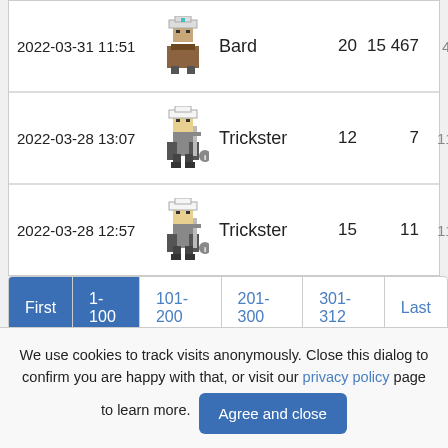| Date | Sprite | Class | Col1 | Col2 | Col3 |
| --- | --- | --- | --- | --- | --- |
| 2022-03-31 11:51 |  | Bard | 20 | 15 467 | 485 |
| 2022-03-28 13:07 |  | Trickster | 12 | 7 | 110 |
| 2022-03-28 12:57 |  | Trickster | 15 | 11 | 110 |
First  1-100  101-200  201-300  301-312  Last
We use cookies to track visits anonymously. Close this dialog to confirm you are happy with that, or visit our privacy policy page to learn more.